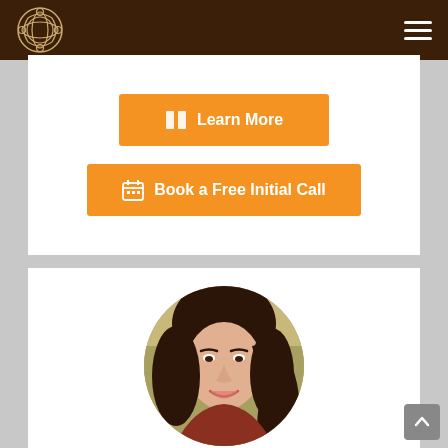[Figure (logo): Celtic knot ornamental logo on dark brown navigation bar]
[Figure (other): Hamburger menu icon (three horizontal white lines) on dark brown navigation bar]
[Figure (other): Orange button with book icon reading 'Learn More']
[Figure (other): Orange button with calendar icon reading 'Book a Free Initial Call']
[Figure (photo): Circular profile photo of a smiling woman with dark brown hair]
Irina Banfi-Mare, Psy.D.
303.547.3615